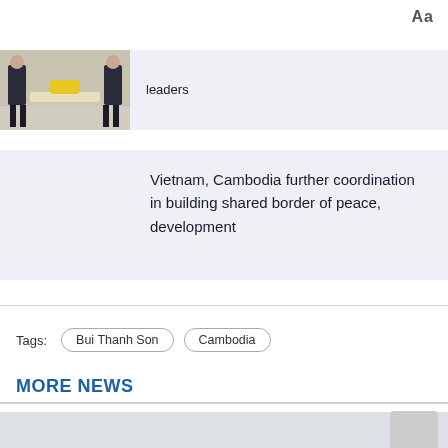Aa
[Figure (photo): Two people in dark suits meeting at a white table with yellow flowers, shaking hands or in discussion]
leaders
Vietnam, Cambodia further coordination in building shared border of peace, development
Tags:  Bui Thanh Son   Cambodia
MORE NEWS
[Figure (photo): Partially visible news article image placeholder]